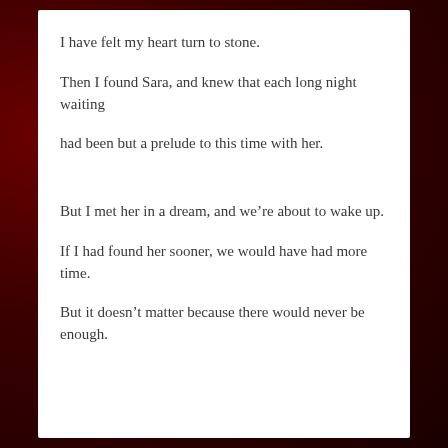I have felt my heart turn to stone.
Then I found Sara, and knew that each long night waiting
had been but a prelude to this time with her.
But I met her in a dream, and we’re about to wake up.
If I had found her sooner, we would have had more time.
But it doesn’t matter because there would never be enough.